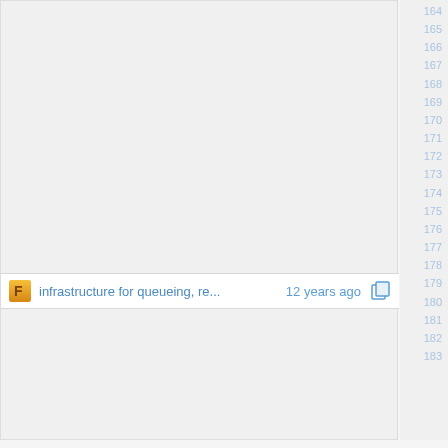infrastructure for queueing, re...  12 years ago
drop mail delivered flag now th...  12 years ago
164 165 166 167 168 169 170 171 172 173 174 175 176 177 178 179 180 181 182 183